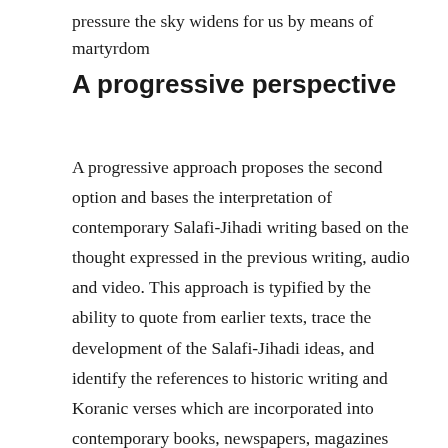pressure the sky widens for us by means of martyrdom
A progressive perspective
A progressive approach proposes the second option and bases the interpretation of contemporary Salafi-Jihadi writing based on the thought expressed in the previous writing, audio and video. This approach is typified by the ability to quote from earlier texts, trace the development of the Salafi-Jihadi ideas, and identify the references to historic writing and Koranic verses which are incorporated into contemporary books, newspapers, magazines and videos. The progressive approach focuses on evidence-based interpretations because these theological concepts anchor contemporary jihadist media to its historical foundations.